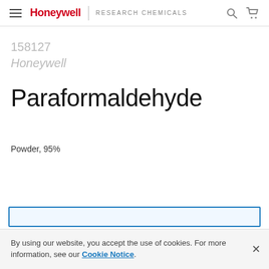Honeywell | RESEARCH CHEMICALS
158127
Honeywell
Paraformaldehyde
Powder, 95%
By using our website, you accept the use of cookies. For more information, see our Cookie Notice.